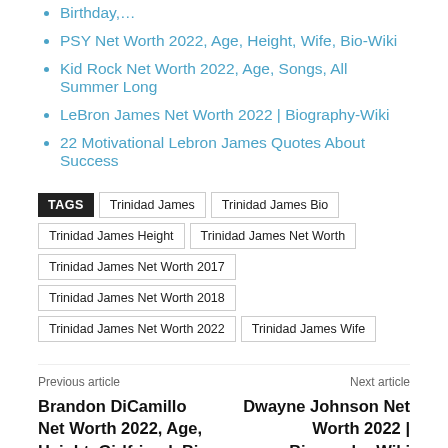Birthday,...
PSY Net Worth 2022, Age, Height, Wife, Bio-Wiki
Kid Rock Net Worth 2022, Age, Songs, All Summer Long
LeBron James Net Worth 2022 | Biography-Wiki
22 Motivational Lebron James Quotes About Success
TAGS Trinidad James Trinidad James Bio Trinidad James Height Trinidad James Net Worth Trinidad James Net Worth 2017 Trinidad James Net Worth 2018 Trinidad James Net Worth 2022 Trinidad James Wife
Previous article
Brandon DiCamillo Net Worth 2022, Age, Height, Girlfriend, Bio-Wiki
Next article
Dwayne Johnson Net Worth 2022 | Biography-Wiki